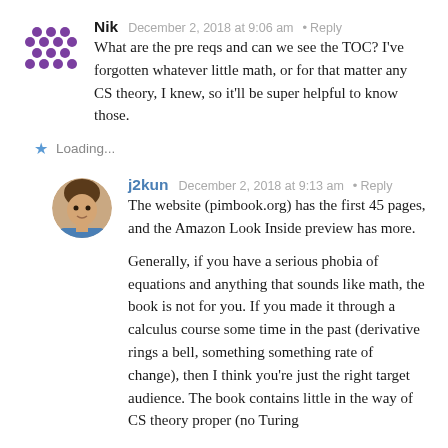[Figure (illustration): Purple pixel/dot pattern avatar icon for user Nik]
Nik
December 2, 2018 at 9:06 am · Reply
What are the pre reqs and can we see the TOC? I've forgotten whatever little math, or for that matter any CS theory, I knew, so it'll be super helpful to know those.
Loading...
[Figure (photo): Circular profile photo of j2kun, a person wearing a blue shirt]
j2kun
December 2, 2018 at 9:13 am · Reply
The website (pimbook.org) has the first 45 pages, and the Amazon Look Inside preview has more.
Generally, if you have a serious phobia of equations and anything that sounds like math, the book is not for you. If you made it through a calculus course some time in the past (derivative rings a bell, something something rate of change), then I think you're just the right target audience. The book contains little in the way of CS theory proper (no Turing